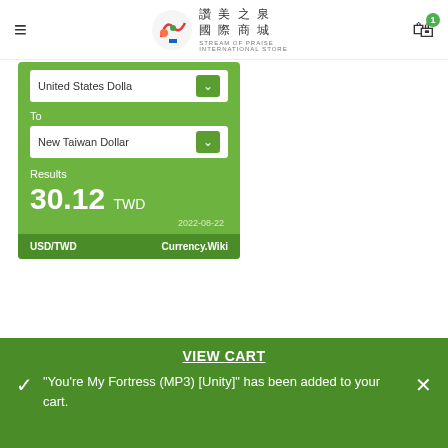讚美之泉 國際商城 STREAM OF PRAISE INTERNATIONAL STORE
[Figure (screenshot): Currency converter widget showing conversion from United States Dollar to New Taiwan Dollar with result 30.12 TWD dated 2022-08-22. Footer shows USD/TWD and Currency.Wiki]
ONLINE STORES IN OTHER COUNTRIES
US/International 美/國際
VIEW CART
"You're My Fortress (MP3) [Unity]" has been added to your cart.